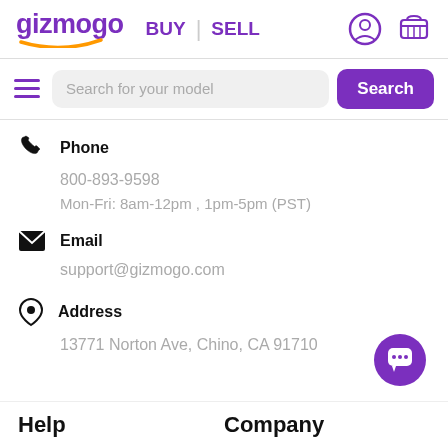gizmogo BUY | SELL
Search for your model
Phone
800-893-9598
Mon-Fri: 8am-12pm , 1pm-5pm (PST)
Email
support@gizmogo.com
Address
13771 Norton Ave, Chino, CA 91710
Help
Company